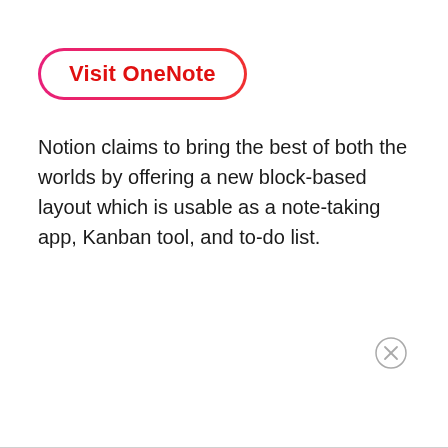[Figure (other): Button with gradient border (pink to red) containing bold red text 'Visit OneNote' on white background with rounded pill shape]
Notion claims to bring the best of both the worlds by offering a new block-based layout which is usable as a note-taking app, Kanban tool, and to-do list.
[Figure (other): Small circle close button (X icon) at bottom right corner]